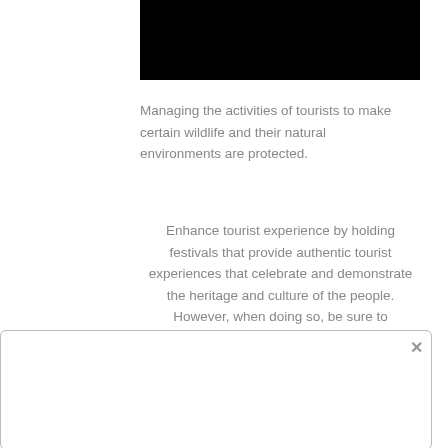[Figure (photo): Black rectangle image block at top of page]
Managing the activities of tourists to make certain wildlife and their natural environments are protected.
Enhance tourist experience by holding festivals that provide authentic tourist experiences that celebrate and demonstrate the heritage and culture of the people. However, when doing so, be sure to observe other environmental